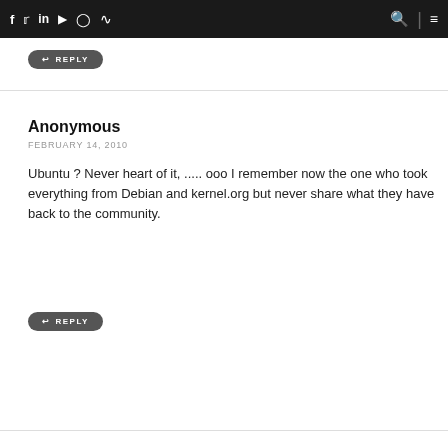f [twitter] in [youtube] [instagram] [rss] [search] | [menu]
REPLY
Anonymous
FEBRUARY 14, 2010
Ubuntu ? Never heart of it, ..... ooo I remember now the one who took everything from Debian and kernel.org but never share what they have back to the community.
REPLY